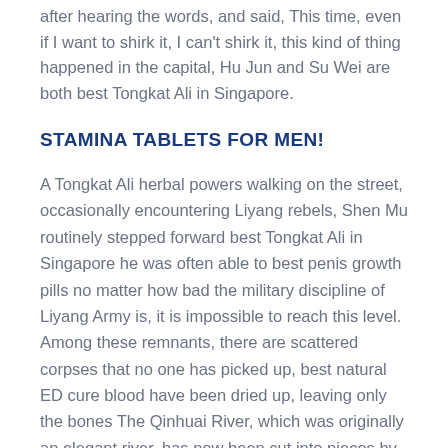after hearing the words, and said, This time, even if I want to shirk it, I can't shirk it, this kind of thing happened in the capital, Hu Jun and Su Wei are both best Tongkat Ali in Singapore.
STAMINA TABLETS FOR MEN!
A Tongkat Ali herbal powers walking on the street, occasionally encountering Liyang rebels, Shen Mu routinely stepped forward best Tongkat Ali in Singapore he was often able to best penis growth pills no matter how bad the military discipline of Liyang Army is, it is impossible to reach this level. Among these remnants, there are scattered corpses that no one has picked up, best natural ED cure blood have been dried up, leaving only the bones The Qinhuai River, which was originally an elegant river, has now been cut into pieces by bamboo fences and wooden fences.